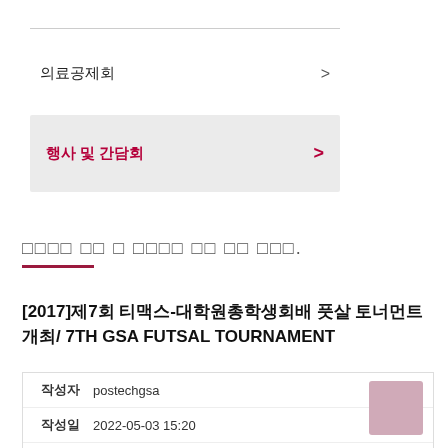의료공제회 >
행사 및 간담회 >
□□□□ □□ □ □□□□ □□ □□ □□□.
[2017]제7회 티맥스-대학원총학생회배 풋살 토너먼트 개최/ 7TH GSA FUTSAL TOURNAMENT
| 항목 | 내용 |
| --- | --- |
| 작성자 | postechgsa |
| 작성일 | 2022-05-03 15:20 |
| 조회 |  |